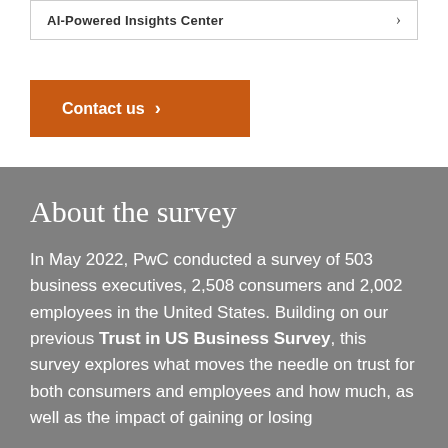AI-Powered Insights Center ›
Contact us ›
About the survey
In May 2022, PwC conducted a survey of 503 business executives, 2,508 consumers and 2,002 employees in the United States. Building on our previous Trust in US Business Survey, this survey explores what moves the needle on trust for both consumers and employees and how much, as well as the impact of gaining or losing